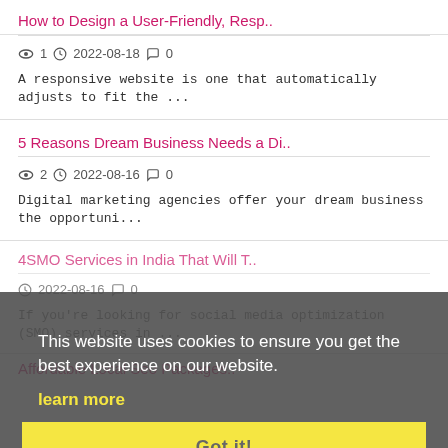How to Design a User-Friendly, Resp..
1  2022-08-18  0
A responsive website is one that automatically adjusts to fit the ...
5 Reasons Dream Business Needs a Di..
2  2022-08-16  0
Digital marketing agencies offer your dream business the opportuni...
4 SMO Services in India That Will T..
2022-08-16  0
If you're looking for social media optimization (SMO) services in ...
Affordable Local Seo Packages..
This website uses cookies to ensure you get the best experience on our website.
learn more
Got it!